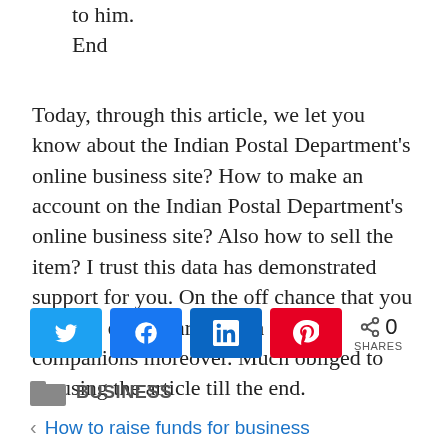to him.
End
Today, through this article, we let you know about the Indian Postal Department's online business site? How to make an account on the Indian Postal Department's online business site? Also how to sell the item? I trust this data has demonstrated support for you. On the off chance that you like this data, share it with your companions moreover. Much obliged to perusing the article till the end.
[Figure (infographic): Social share buttons: Twitter (blue), Facebook (blue), LinkedIn (dark blue), Pinterest (red), and share count showing 0 SHARES]
BUSINESS
How to raise funds for business